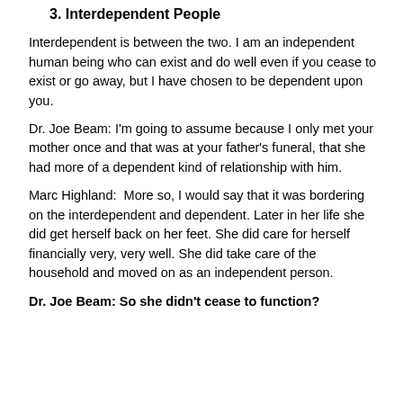3. Interdependent People
Interdependent is between the two. I am an independent human being who can exist and do well even if you cease to exist or go away, but I have chosen to be dependent upon you.
Dr. Joe Beam: I'm going to assume because I only met your mother once and that was at your father's funeral, that she had more of a dependent kind of relationship with him.
Marc Highland:  More so, I would say that it was bordering on the interdependent and dependent. Later in her life she did get herself back on her feet. She did care for herself financially very, very well. She did take care of the household and moved on as an independent person.
Dr. Joe Beam: So she didn't cease to function?